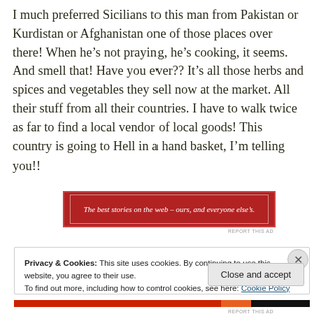I much preferred Sicilians to this man from Pakistan or Kurdistan or Afghanistan one of those places over there! When he’s not praying, he’s cooking, it seems. And smell that! Have you ever?? It’s all those herbs and spices and vegetables they sell now at the market. All their stuff from all their countries. I have to walk twice as far to find a local vendor of local goods! This country is going to Hell in a hand basket, I’m telling you!!
[Figure (other): Red advertisement banner reading: The best stories on the web – ours, and everyone else’s.]
REPORT THIS AD
Privacy & Cookies: This site uses cookies. By continuing to use this website, you agree to their use.
To find out more, including how to control cookies, see here: Cookie Policy
Close and accept